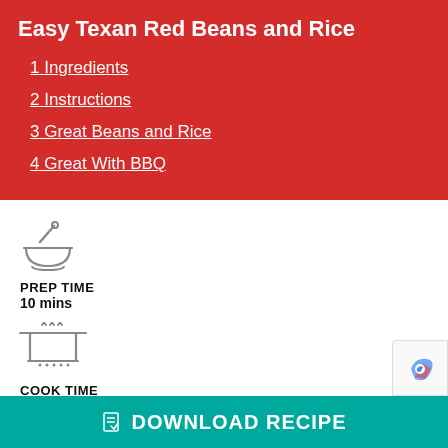Easy Texan Red Beans and Rice
1 Ingredients
2 Instructions
3 Great Beans and Rice
4 Great With BBQ
[Figure (illustration): Mortar and pestle icon]
PREP TIME
10 mins
[Figure (illustration): Cooking pot on stove icon]
COOK TIME
15 mins
[Figure (illustration): Cutlery / fork and knife icon]
DOWNLOAD RECIPE